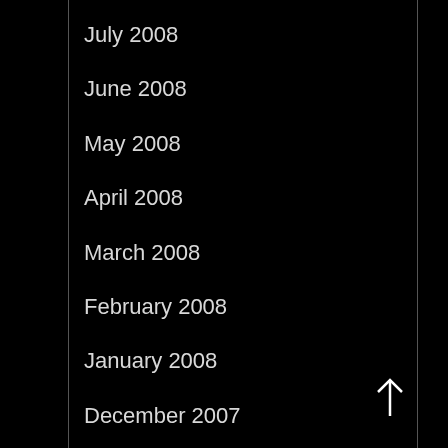July 2008
June 2008
May 2008
April 2008
March 2008
February 2008
January 2008
December 2007
November 2007
October 2007
September 2007
August 2007